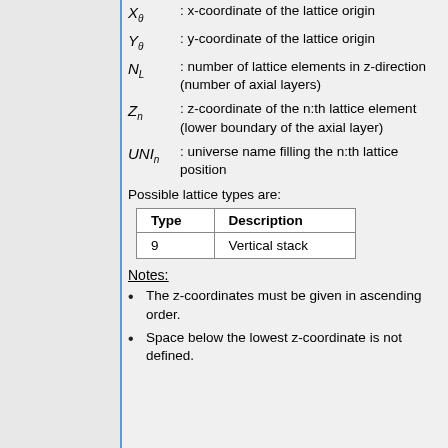X_0 : x-coordinate of the lattice origin
Y_0 : y-coordinate of the lattice origin
N_L : number of lattice elements in z-direction (number of axial layers)
Z_n : z-coordinate of the n:th lattice element (lower boundary of the axial layer)
UNI_n : universe name filling the n:th lattice position
Possible lattice types are:
| Type | Description |
| --- | --- |
| 9 | Vertical stack |
Notes:
The z-coordinates must be given in ascending order.
Space below the lowest z-coordinate is not defined.